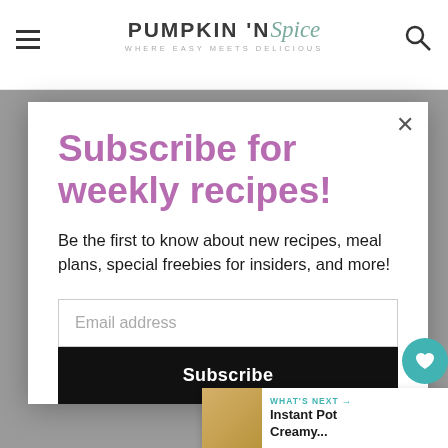PUMPKIN 'N Spice — WHERE EASY MEETS DELICIOUS
Subscribe for weekly recipes!
Be the first to know about new recipes, meal plans, special freebies for insiders, and more!
Email address
Subscribe
3 cups uncooked pasta (such as cavatappi, rotini, or penne)
[Figure (other): What's Next widget showing Instant Pot Creamy... with a thumbnail image]
[Figure (other): Floating heart action button with count 146 and share button]